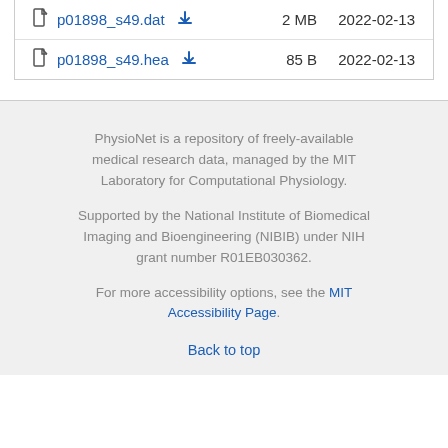| File |  | Size | Date |
| --- | --- | --- | --- |
| p01898_s49.dat | download | 2 MB | 2022-02-13 |
| p01898_s49.hea | download | 85 B | 2022-02-13 |
PhysioNet is a repository of freely-available medical research data, managed by the MIT Laboratory for Computational Physiology.
Supported by the National Institute of Biomedical Imaging and Bioengineering (NIBIB) under NIH grant number R01EB030362.
For more accessibility options, see the MIT Accessibility Page.
Back to top